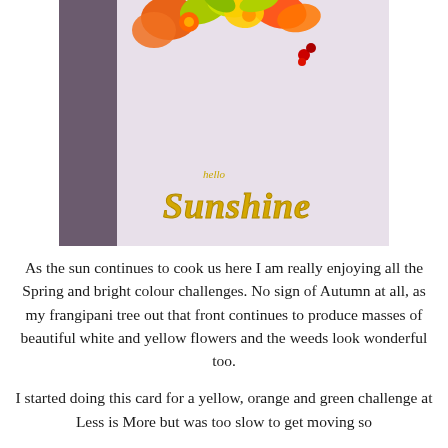[Figure (photo): A greeting card with a lavender/light purple background featuring tropical flowers (orange, yellow, red) at the top and a gold die-cut 'hello Sunshine' sentiment near the bottom center of the card.]
As the sun continues to cook us here I am really enjoying all the Spring and bright colour challenges. No sign of Autumn at all, as my frangipani tree out that front continues to produce masses of beautiful white and yellow flowers and the weeds look wonderful too.
I started doing this card for a yellow, orange and green challenge at Less is More but was too slow to get moving so